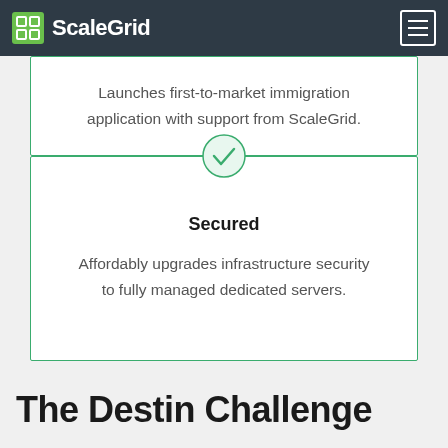[Figure (logo): ScaleGrid logo with grid icon and text in white on dark navy navbar]
Launches first-to-market immigration application with support from ScaleGrid.
Secured
Affordably upgrades infrastructure security to fully managed dedicated servers.
The Destin Challenge